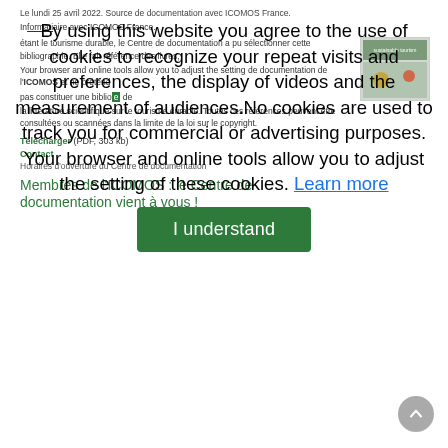Le lundi 25 avril 2022. Source de documentation avec ICOMOS France.
étant le tourisme durable, le Centre de documentation a pu sélectionner cet ouvrage dans cette bibliographie. Elle fait référence des livres, des outils de bibliothèque et des browser and online tools. La base de documentation de l'ICOMOS et ne prétend pas constituer une bibliographie exhaustive de la littérature scientifique sur le tourisme durable. Toutes ces références peuvent être consultées ou scannées dans la limite de la loi sur le copyright.
Télécharger (PDF, 303 kb)
Contact
Horaires d'ouverture du Centre de documentation
Membres de l'ICOMOS : le Centre de documentation vient à vous !
By using this website you agree to the use of cookies to recognize your repeat visits and preferences, the display of videos and the measurement of audiences. No cookies are used to track you for commercial or advertising purposes. Your browser and online tools allow you to adjust the setting of these cookies. Learn more
I understand